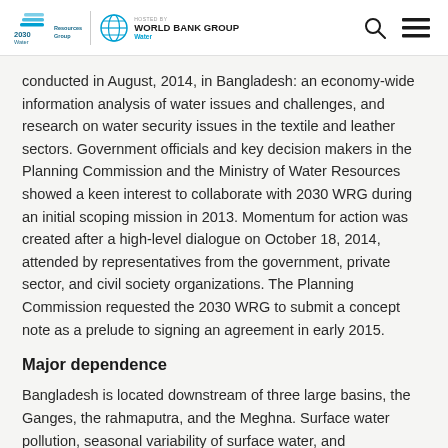2030 Water Resources Group | HOSTED BY WORLD BANK GROUP Water
conducted in August, 2014, in Bangladesh: an economy-wide information analysis of water issues and challenges, and research on water security issues in the textile and leather sectors. Government officials and key decision makers in the Planning Commission and the Ministry of Water Resources showed a keen interest to collaborate with 2030 WRG during an initial scoping mission in 2013. Momentum for action was created after a high-level dialogue on October 18, 2014, attended by representatives from the government, private sector, and civil society organizations. The Planning Commission requested the 2030 WRG to submit a concept note as a prelude to signing an agreement in early 2015.
Major dependence
Bangladesh is located downstream of three large basins, the Ganges, the rahmaputra, and the Meghna. Surface water pollution, seasonal variability of surface water, and